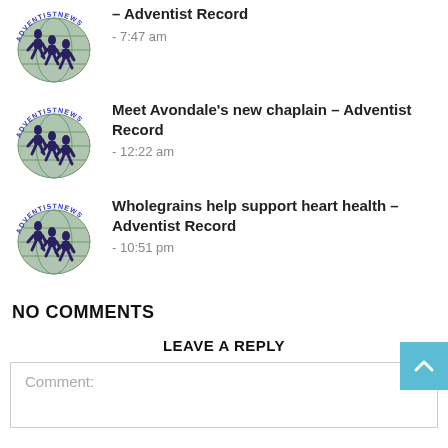[Figure (logo): Adventist News Network logo - globe with running figures and text ADVENTISTNEWS]
– Adventist Record
- 7:47 am
[Figure (logo): Adventist News Network logo - globe with running figures and text ADVENTISTNEWS]
Meet Avondale's new chaplain – Adventist Record
- 12:22 am
[Figure (logo): Adventist News Network logo - globe with running figures and text ADVENTISTNEWS]
Wholegrains help support heart health – Adventist Record
- 10:51 pm
NO COMMENTS
LEAVE A REPLY
Comment: